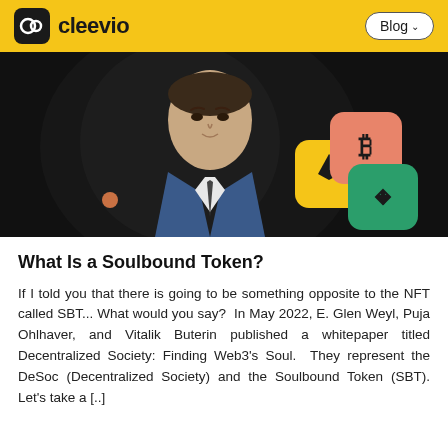cleevio   Blog
[Figure (photo): Hero image of a man in a blue suit against a dark background, with cryptocurrency token icons (Ethereum yellow, Bitcoin salmon/orange, Binance green) overlaid on the right side.]
What Is a Soulbound Token?
If I told you that there is going to be something opposite to the NFT called SBT... What would you say?  In May 2022, E. Glen Weyl, Puja Ohlhaver, and Vitalik Buterin published a whitepaper titled Decentralized Society: Finding Web3's Soul.  They represent the DeSoc (Decentralized Society) and the Soulbound Token (SBT). Let's take a [..]